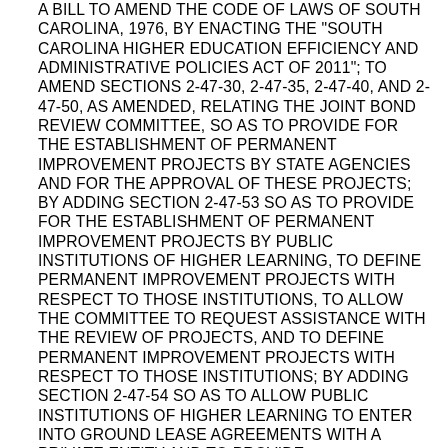A BILL TO AMEND THE CODE OF LAWS OF SOUTH CAROLINA, 1976, BY ENACTING THE "SOUTH CAROLINA HIGHER EDUCATION EFFICIENCY AND ADMINISTRATIVE POLICIES ACT OF 2011"; TO AMEND SECTIONS 2-47-30, 2-47-35, 2-47-40, AND 2-47-50, AS AMENDED, RELATING THE JOINT BOND REVIEW COMMITTEE, SO AS TO PROVIDE FOR THE ESTABLISHMENT OF PERMANENT IMPROVEMENT PROJECTS BY STATE AGENCIES AND FOR THE APPROVAL OF THESE PROJECTS; BY ADDING SECTION 2-47-53 SO AS TO PROVIDE FOR THE ESTABLISHMENT OF PERMANENT IMPROVEMENT PROJECTS BY PUBLIC INSTITUTIONS OF HIGHER LEARNING, TO DEFINE PERMANENT IMPROVEMENT PROJECTS WITH RESPECT TO THOSE INSTITUTIONS, TO ALLOW THE COMMITTEE TO REQUEST ASSISTANCE WITH THE REVIEW OF PROJECTS, AND TO DEFINE PERMANENT IMPROVEMENT PROJECTS WITH RESPECT TO THOSE INSTITUTIONS; BY ADDING SECTION 2-47-54 SO AS TO ALLOW PUBLIC INSTITUTIONS OF HIGHER LEARNING TO ENTER INTO GROUND LEASE AGREEMENTS WITH A PRIVATE ENTITY AND TO PROVIDE REQUIREMENTS FOR THOSE AGREEMENTS; BY ADDING SECTION 59-53-168 SO AS TO REQUIRE THE STATE BOARD FOR TECHNICAL AND COMPREHENSIVE EDUCATION TO ESTABLISH A TIERED SYSTEM FOR CATEGORIZING TECHNICAL COLLEGES